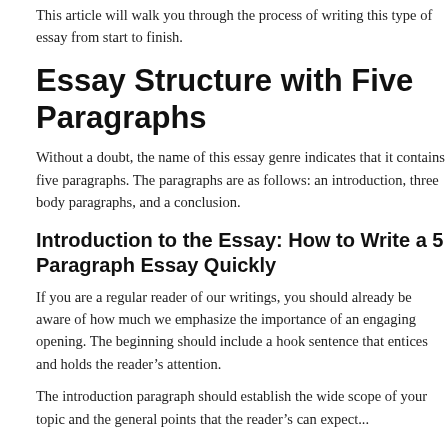This article will walk you through the process of writing this type of essay from start to finish.
Essay Structure with Five Paragraphs
Without a doubt, the name of this essay genre indicates that it contains five paragraphs. The paragraphs are as follows: an introduction, three body paragraphs, and a conclusion.
Introduction to the Essay: How to Write a 5 Paragraph Essay Quickly
If you are a regular reader of our writings, you should already be aware of how much we emphasize the importance of an engaging opening. The beginning should include a hook sentence that entices and holds the reader’s attention.
The introduction paragraph should establish the wide scope of your topic and the general points that the reader’s can expect...